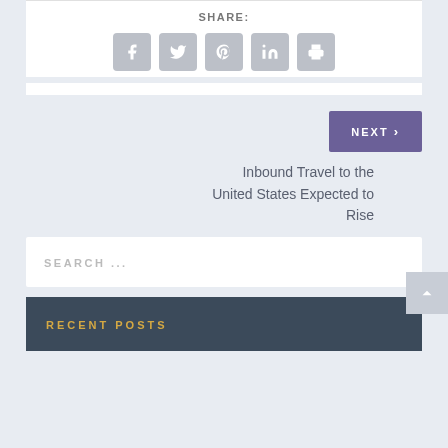SHARE:
[Figure (infographic): Row of 5 social share icon buttons: Facebook, Twitter, Pinterest, LinkedIn, Print]
NEXT ›
Inbound Travel to the United States Expected to Rise
SEARCH ...
RECENT POSTS